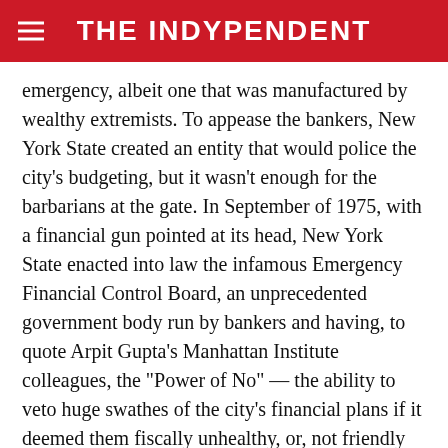THE INDYPENDENT
emergency, albeit one that was manufactured by wealthy extremists. To appease the bankers, New York State created an entity that would police the city’s budgeting, but it wasn’t enough for the barbarians at the gate. In September of 1975, with a financial gun pointed at its head, New York State enacted into law the infamous Emergency Financial Control Board, an unprecedented government body run by bankers and having, to quote Arpit Gupta’s Manhattan Institute colleagues, the “Power of No” — the ability to veto huge swathes of the city’s financial plans if it deemed them fiscally unhealthy, or, not friendly enough to capital. It was an early experiment in handing the reins of government over to the private sector.
The EFCB first got to work dismantling the city’s